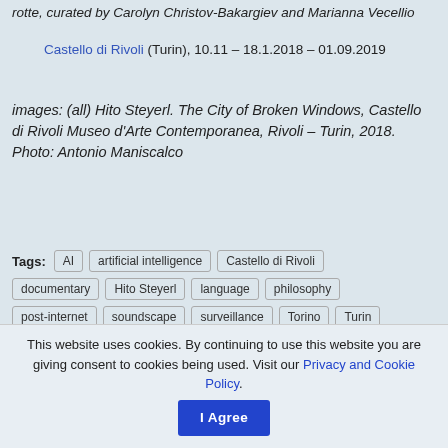rotte, curated by Carolyn Christov-Bakargiev and Marianna Vecellio
Castello di Rivoli (Turin), 10.11 – 18.1.2018 – 01.09.2019
images: (all) Hito Steyerl. The City of Broken Windows, Castello di Rivoli Museo d'Arte Contemporanea, Rivoli – Turin, 2018. Photo: Antonio Maniscalco
Tags: AI  artificial intelligence  Castello di Rivoli  documentary  Hito Steyerl  language  philosophy  post-internet  soundscape  surveillance  Torino  Turin  video
This website uses cookies. By continuing to use this website you are giving consent to cookies being used. Visit our Privacy and Cookie Policy.